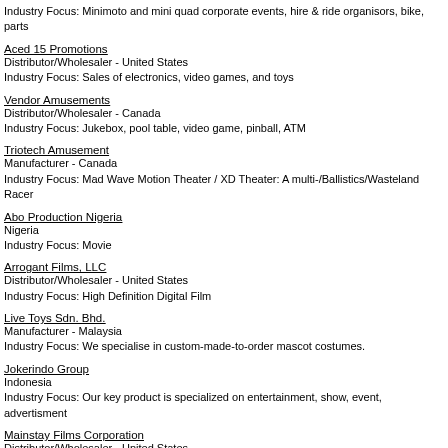Industry Focus: Minimoto and mini quad corporate events, hire & ride organisors, bike, parts
Aced 15 Promotions
Distributor/Wholesaler - United States
Industry Focus: Sales of electronics, video games, and toys
Vendor Amusements
Distributor/Wholesaler - Canada
Industry Focus: Jukebox, pool table, video game, pinball, ATM
Triotech Amusement
Manufacturer - Canada
Industry Focus: Mad Wave Motion Theater / XD Theater: A multi-/Ballistics/Wasteland Racer
Abo Production Nigeria
Nigeria
Industry Focus: Movie
Arrogant Films, LLC
Distributor/Wholesaler - United States
Industry Focus: High Definition Digital Film
Live Toys Sdn. Bhd.
Manufacturer - Malaysia
Industry Focus: We specialise in custom-made-to-order mascot costumes.
Jokerindo Group
Indonesia
Industry Focus: Our key product is specialized on entertainment, show, event, advertisment
Mainstay Films Corporation
Distributor/Wholesaler - United States
Industry Focus: Publishers of illustrated graphic novels. Producers of feature films. The grap
MTG Entertainmemt
Trading Company - United Kingdom
Industry Focus: Entertainment Projects,Games